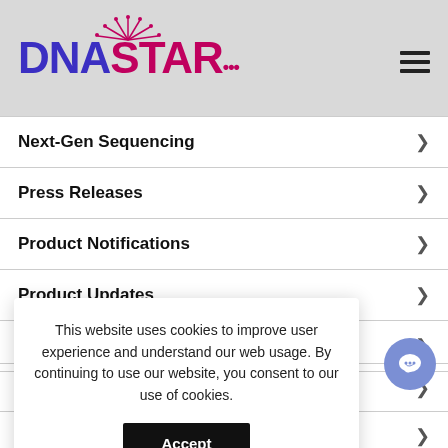DNASTAR
Next-Gen Sequencing
Press Releases
Product Notifications
Product Updates
Publications
This website uses cookies to improve user experience and understand our web usage. By continuing to use our website, you consent to our use of cookies.
RECENT POSTS